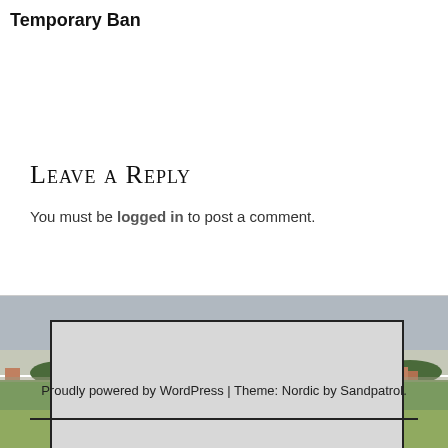Temporary Ban
Leave a Reply
You must be logged in to post a comment.
[Figure (photo): Landscape photograph of a flat rural area with green fields, trees in the distance, and buildings visible at the horizon under an overcast sky.]
[Figure (other): Gray rectangle advertisement box overlaid on the landscape photo.]
Proudly powered by WordPress | Theme: Nordic by Sandpatrol.